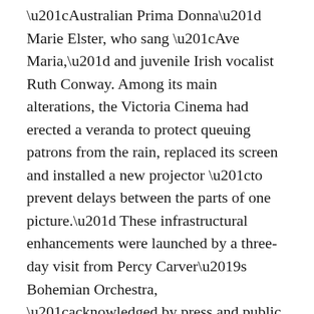“Australian Prima Donna” Marie Elster, who sang “Ave Maria,” and juvenile Irish vocalist Ruth Conway. Among its main alterations, the Victoria Cinema had erected a veranda to protect queuing patrons from the rain, replaced its screen and installed a new projector “to prevent delays between the parts of one picture.” These infrastructural enhancements were launched by a three-day visit from Percy Carver’s Bohemian Orchestra, “acknowledged by press and public as the finest in Ireland” (“Notes & News”). Whether or not Mary Burke was among the visiting musicians is not recorded.Christmas was celebrated in picture houses around the country with such traditional fare as pantomime films but also with more recent innovations. The Cork Examiner’s review